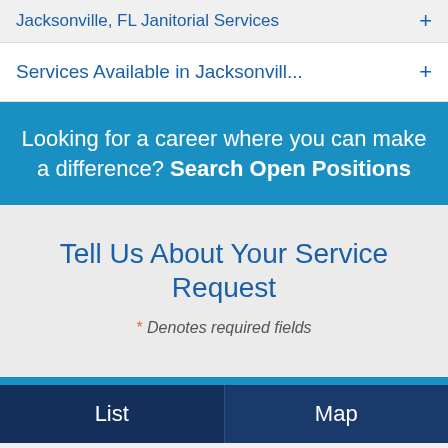Jacksonville, FL Janitorial Services
Services Available in Jacksonvill...
Looking for a career where you can make a difference? Search Open Positions
Tell Us About Your Service Request
* Denotes required fields
List  Map